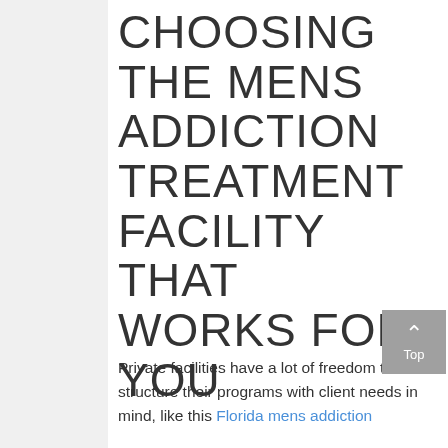CHOOSING THE MENS ADDICTION TREATMENT FACILITY THAT WORKS FOR YOU
Private facilities have a lot of freedom to structure their programs with client needs in mind, like this Florida mens addiction